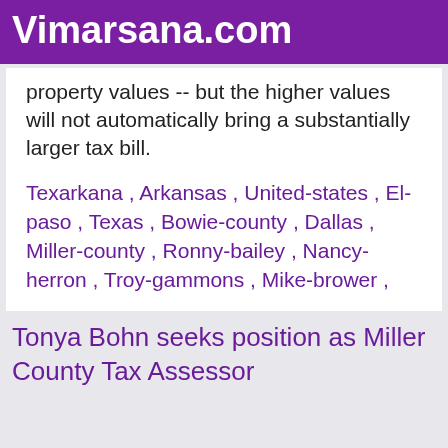Vimarsana.com
property values -- but the higher values will not automatically bring a substantially larger tax bill.
Texarkana , Arkansas , United-states , El-paso , Texas , Bowie-county , Dallas , Miller-county , Ronny-bailey , Nancy-herron , Troy-gammons , Mike-brower ,
Tonya Bohn seeks position as Miller County Tax Assessor